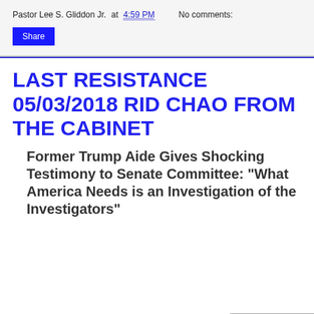Pastor Lee S. Gliddon Jr. at 4:59 PM   No comments:
Share
LAST RESISTANCE 05/03/2018 RID CHAO FROM THE CABINET
Former Trump Aide Gives Shocking Testimony to Senate Committee: "What America Needs is an Investigation of the Investigators"